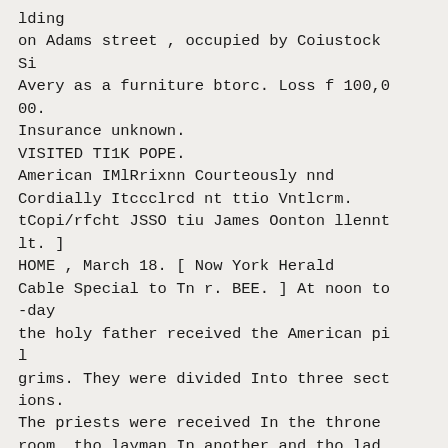lding on Adams street , occupied by Coiustock Si Avery as a furniture btorc. Loss f 100,000. Insurance unknown. VISITED TI1K POPE. American IMlRrixnn Courteously nnd Cordially Itccclrcd nt ttio Vntlcrm. tCopi/rfcht JSSO tiu James Oonton llennt lt. ] HOME , March 18. [ Now York Herald Cable Special to Tn r. BEE. ] At noon to-day the holy father received the American pil grims. They were divided Into three sections. The priests were received In the throne room, tho layman In another and tho lad